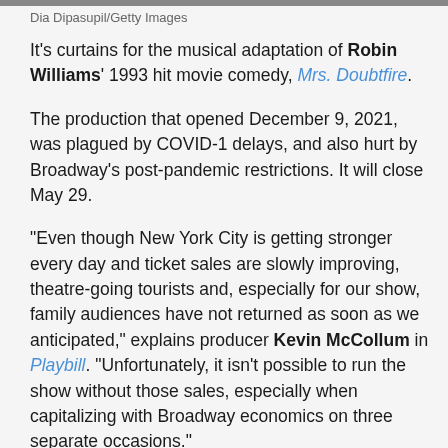[Figure (photo): Partial image strip at top of page]
Dia Dipasupil/Getty Images
It's curtains for the musical adaptation of Robin Williams' 1993 hit movie comedy, Mrs. Doubtfire.
The production that opened December 9, 2021, was plagued by COVID-1 delays, and also hurt by Broadway's post-pandemic restrictions. It will close May 29.
"Even though New York City is getting stronger every day and ticket sales are slowly improving, theatre-going tourists and, especially for our show, family audiences have not returned as soon as we anticipated," explains producer Kevin McCollum in Playbill. "Unfortunately, it isn't possible to run the show without those sales, especially when capitalizing with Broadway economics on three separate occasions."
The production recently earned a Tony nomination for